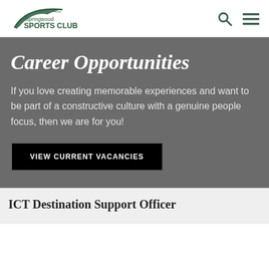[Figure (logo): Springwood Sports Club logo with swoosh arc and text]
Career Opportunities
If you love creating memorable experiences and want to be part of a constructive culture with a genuine people focus, then we are for you!
VIEW CURRENT VACANCIES
ICT Destination Support Officer